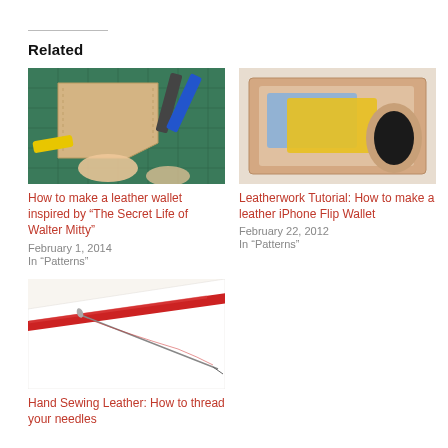Related
[Figure (photo): Leather wallet making on a green cutting mat with tools including pliers and a yellow cutter, hands working with leather]
How to make a leather wallet inspired by “The Secret Life of Walter Mitty”
February 1, 2014
In “Patterns”
[Figure (photo): Leather iPhone flip wallet open showing card slots with blue and yellow cards and a guitar pick shaped cutout]
Leatherwork Tutorial: How to make a leather iPhone Flip Wallet
February 22, 2012
In “Patterns”
[Figure (photo): Hand sewing leather with needle and red thread on white leather surface]
Hand Sewing Leather: How to thread your needles